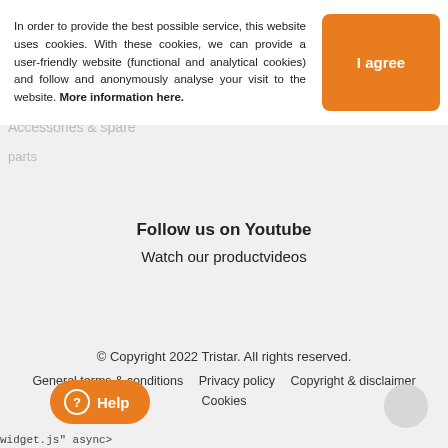In order to provide the best possible service, this website uses cookies. With these cookies, we can provide a user-friendly website (functional and analytical cookies) and follow and anonymously analyse your visit to the website. More information here.
I agree
Tristar products
Accessories
Accessories & spare parts
Follow us on Youtube
Watch our productvideos
© Copyright 2022 Tristar. All rights reserved.
General terms & conditions   Privacy policy   Copyright & disclaimer   Cookies
Help
widget.js" async>